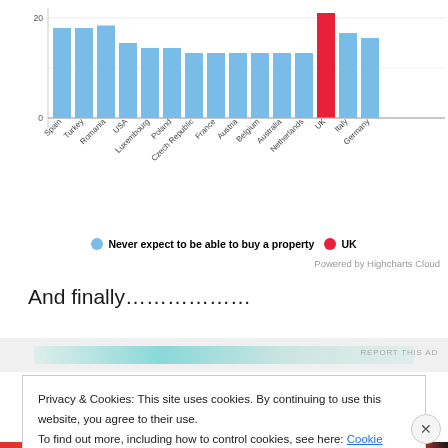[Figure (bar-chart): % of those currently renting who...]
Never expect to be able to buy a property   UK
Powered by Highcharts Cloud
And finally………………
Privacy & Cookies: This site uses cookies. By continuing to use this website, you agree to their use.
To find out more, including how to control cookies, see here: Cookie Policy